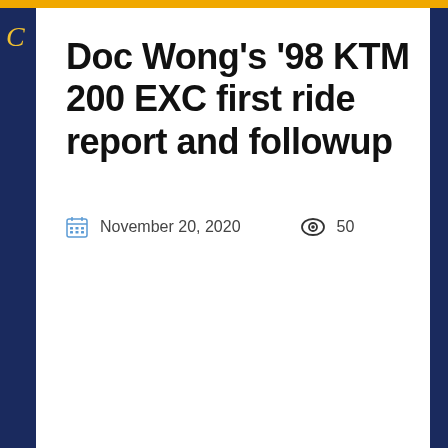Doc Wong's '98 KTM 200 EXC first ride report and followup
November 20, 2020   50